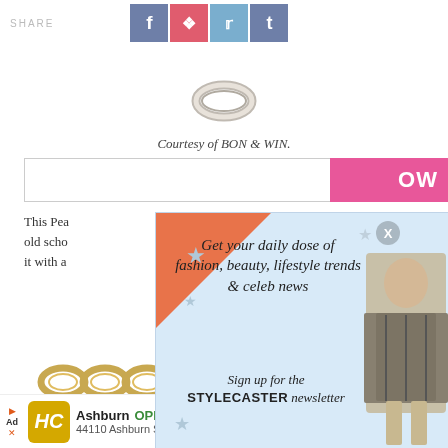SHARE | [social icons: f, pinterest, twitter, tumblr]
[Figure (photo): Partial view of a silver ring at top of page]
Courtesy of BON & WIN.
[Figure (screenshot): STYLECASTER newsletter signup popup overlay with orange triangle decoration, close button X, star decorations, woman in plaid, text: Get your daily dose of fashion, beauty, lifestyle trends & celeb news. Sign up for the STYLECASTER newsletter. Email input field and SIGN UP button.]
This Pea... le bit of old scho... pairing it with a
2 of 13
[Figure (photo): Gold chain bracelet or necklace link jewelry]
[Figure (screenshot): Advertisement bar: HC logo, Ashburn OPEN 8AM-8PM, 44110 Ashburn Shopping Plaza 190, with map navigation icon]